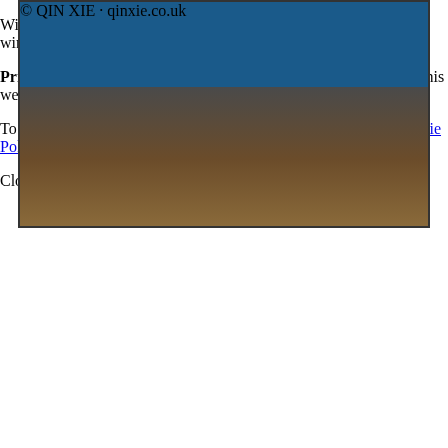[Figure (photo): Photo of multiple wine bottles arranged standing upright on a wooden surface against a blue patterned backdrop. Labels visible include Morgon, Hochar, Zonte Footste, Pago Creek, and others. Watermark reads: © QIN XIE · qinxie.co.uk]
Wintry weather is the perfect excuse to breakout the warming red wines for those hearty stews.
Privacy & Cookies: This site uses cookies. By continuing to use this website, you agree to their use.
To find out more, including how to control cookies, see here: Cookie Policy
Close and accept